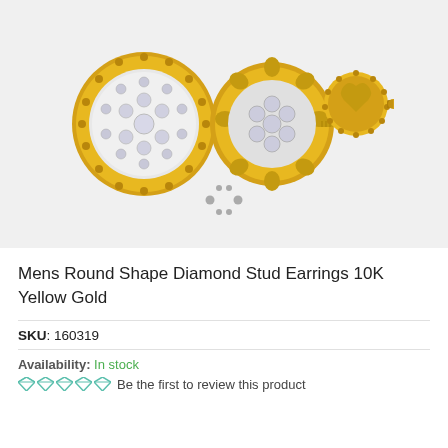[Figure (photo): Three views of diamond stud earrings in 10K yellow gold setting: front face view showing round diamond cluster, side view showing the mounting and side profile, and back view showing the screw-back mechanism.]
Mens Round Shape Diamond Stud Earrings 10K Yellow Gold
SKU: 160319
Availability: In stock
Be the first to review this product